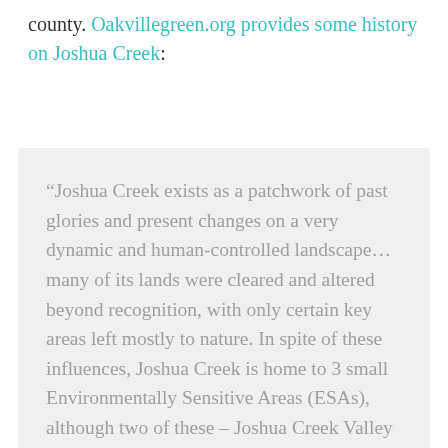county. Oakvillegreen.org provides some history on Joshua Creek:
“Joshua Creek exists as a patchwork of past glories and present changes on a very dynamic and human-controlled landscape… many of its lands were cleared and altered beyond recognition, with only certain key areas left mostly to nature. In spite of these influences, Joshua Creek is home to 3 small Environmentally Sensitive Areas (ESAs), although two of these – Joshua Creek Valley and Wildflower Woods – have declined since they were highlighted in the 1970’s, and while still valuable, may no longer qualify as ESAs in the future. In only a handful of decades, development has quickly covered most of the landscape, blotting off the award habitats...